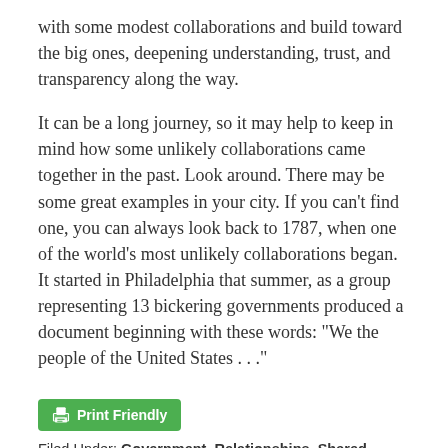with some modest collaborations and build toward the big ones, deepening understanding, trust, and transparency along the way.
It can be a long journey, so it may help to keep in mind how some unlikely collaborations came together in the past. Look around. There may be some great examples in your city. If you can't find one, you can always look back to 1787, when one of the world's most unlikely collaborations began. It started in Philadelphia that summer, as a group representing 13 bickering governments produced a document beginning with these words: "We the people of the United States . . ."
[Figure (other): Print Friendly button (green rounded rectangle with printer icon and text 'Print Friendly')]
Filed Under: Government, Relationships, Shared responsibility, Uncategorized
Tagged With: Collaboration, Empathy, Mutual interest,